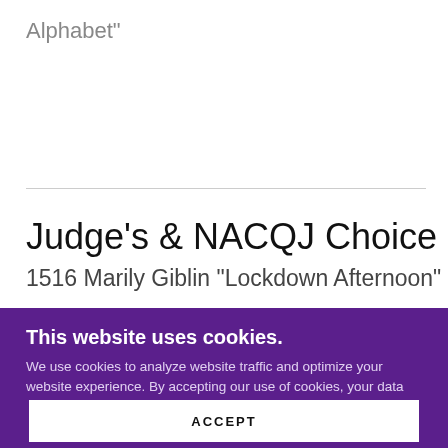Alphabet"
Judge's & NACQJ Choice
1516 Marily Giblin "Lockdown Afternoon"
This website uses cookies.
We use cookies to analyze website traffic and optimize your website experience. By accepting our use of cookies, your data will be aggregated with all other user data.
ACCEPT